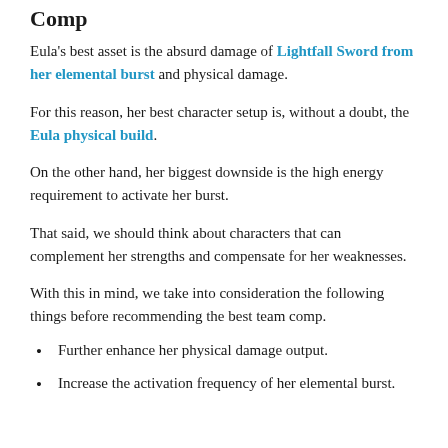Comp
Eula's best asset is the absurd damage of Lightfall Sword from her elemental burst and physical damage.
For this reason, her best character setup is, without a doubt, the Eula physical build.
On the other hand, her biggest downside is the high energy requirement to activate her burst.
That said, we should think about characters that can complement her strengths and compensate for her weaknesses.
With this in mind, we take into consideration the following things before recommending the best team comp.
Further enhance her physical damage output.
Increase the activation frequency of her elemental burst.